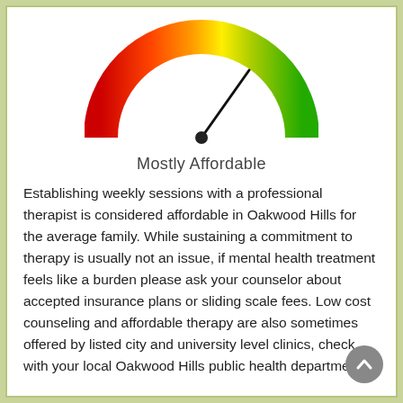[Figure (other): A semicircular gauge/speedometer chart showing affordability level. The gauge arc transitions from red on the left through orange and yellow to green on the right. The needle points toward the green-yellow border area, indicating 'Mostly Affordable'.]
Mostly Affordable
Establishing weekly sessions with a professional therapist is considered affordable in Oakwood Hills for the average family. While sustaining a commitment to therapy is usually not an issue, if mental health treatment feels like a burden please ask your counselor about accepted insurance plans or sliding scale fees. Low cost counseling and affordable therapy are also sometimes offered by listed city and university level clinics, check with your local Oakwood Hills public health department.